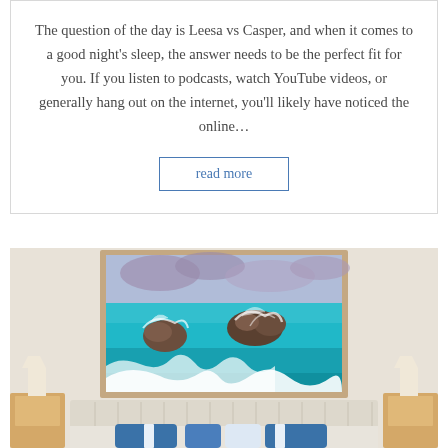The question of the day is Leesa vs Casper, and when it comes to a good night's sleep, the answer needs to be the perfect fit for you. If you listen to podcasts, watch YouTube videos, or generally hang out on the internet, you'll likely have noticed the online…
read more
[Figure (photo): A bedroom scene featuring a large framed painting of a turquoise ocean with rocky islands and crashing waves hanging above a white upholstered headboard. Blue and white throw pillows are arranged on the bed, with wooden bedside furniture visible on either side.]